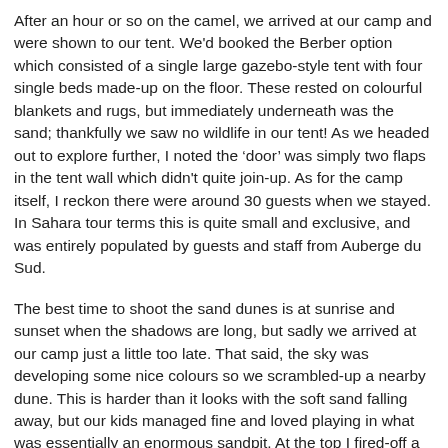After an hour or so on the camel, we arrived at our camp and were shown to our tent. We'd booked the Berber option which consisted of a single large gazebo-style tent with four single beds made-up on the floor. These rested on colourful blankets and rugs, but immediately underneath was the sand; thankfully we saw no wildlife in our tent! As we headed out to explore further, I noted the ‘door’ was simply two flaps in the tent wall which didn't quite join-up. As for the camp itself, I reckon there were around 30 guests when we stayed. In Sahara tour terms this is quite small and exclusive, and was entirely populated by guests and staff from Auberge du Sud.
The best time to shoot the sand dunes is at sunrise and sunset when the shadows are long, but sadly we arrived at our camp just a little too late. That said, the sky was developing some nice colours so we scrambled-up a nearby dune. This is harder than it looks with the soft sand falling away, but our kids managed fine and loved playing in what was essentially an enormous sandpit. At the top I fired-off a few shots of the darkening sky with my ultra-wide zoom. Wide angle lenses may seem the best choice in this environment, but you have to be careful to avoid any footprints or evidence of the camp if you’re after a